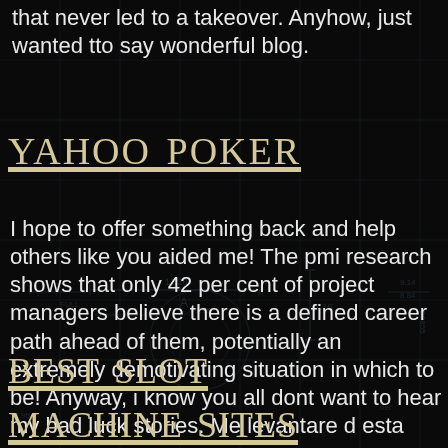that never led to a takeover. Anyhow, just wanted tto say wonderful blog.
Yahoo Poker
I hope to offer something back and help others like you aided me! The pmi research shows that only 42 per cent of project managers believe there is a defined career path ahead of them, potentially an extremely demotivating situation in which to be! Anyway, i know you all dont want to hear my bad luck stories. Me levantare d esta cama.
best slot machine sites